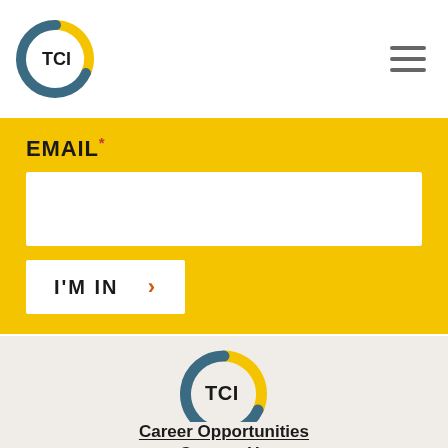[Figure (logo): TCI logo top-left: circular C shape in yellow and dark teal with TCI text inside]
[Figure (other): Hamburger menu icon (three horizontal lines) top-right]
EMAIL*
[Figure (other): White email input box]
I'M IN  >
[Figure (logo): TCI logo center: circular C shape in yellow and dark teal with TCI text inside]
Career Opportunities
Contact Us
1329 E Cary St. #200